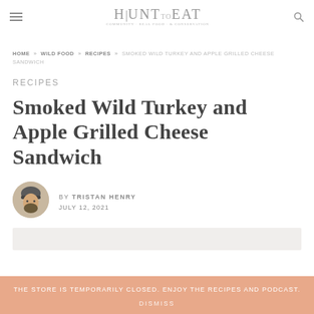HUNTtoEAT
HOME » WILD FOOD » RECIPES » SMOKED WILD TURKEY AND APPLE GRILLED CHEESE SANDWICH
RECIPES
Smoked Wild Turkey and Apple Grilled Cheese Sandwich
BY TRISTAN HENRY JULY 12, 2021
[Figure (photo): Partial view of food photo at bottom of page]
THE STORE IS TEMPORARILY CLOSED. ENJOY THE RECIPES AND PODCAST. DISMISS